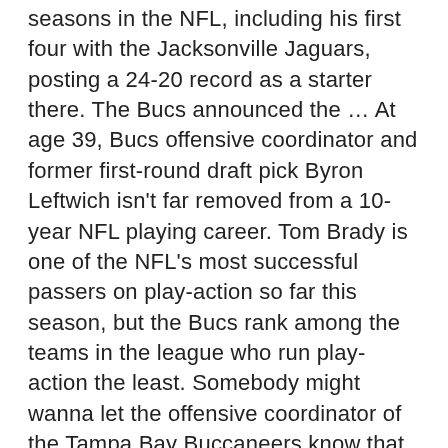seasons in the NFL, including his first four with the Jacksonville Jaguars, posting a 24-20 record as a starter there. The Bucs announced the … At age 39, Bucs offensive coordinator and former first-round draft pick Byron Leftwich isn't far removed from a 10-year NFL playing career. Tom Brady is one of the NFL's most successful passers on play-action so far this season, but the Bucs rank among the teams in the league who run play-action the least. Somebody might wanna let the offensive coordinator of the Tampa Bay Buccaneers know that he's in charge of calling the plays, because it seems like Byron Leftwich might not be aware. Byron Leftwich is entering his second season as Tampa Bay's offensive coordinator, and this will be his first time working with Tom Brady. Todd Bowles will join Arians in Tampa and serve as the Bucs'